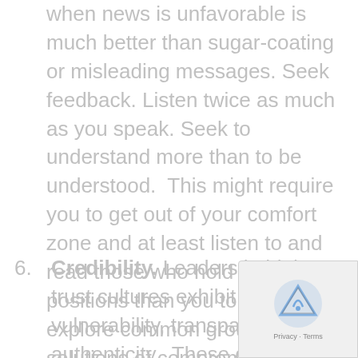when news is unfavorable is much better than sugar-coating or misleading messages. Seek feedback. Listen twice as much as you speak. Seek to understand more than to be understood.  This might require you to get out of your comfort zone and at least listen to and read those who hold different positions than you to be able to explore common ground and solutions of compromise.
6. Credibility. Leaders in high trust cultures exhibit vulnerability, transparency and authenticity.  These qualities seem counter-intuitive to many less experienced managers, but they have been proven to